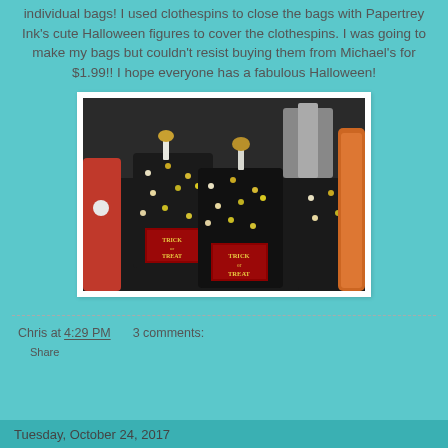individual bags!  I used clothespins to close the bags with Papertrey Ink's cute Halloween figures to cover the clothespins.  I was going to make my bags but couldn't resist buying them from Michael's for $1.99!!  I hope everyone has a fabulous Halloween!
[Figure (photo): Photo of black polka-dotted trick or treat gift bags with clothespins and Halloween figure decorations on top, showing 'Trick or Treat' labels on the front of two bags]
Chris at 4:29 PM    3 comments:
Share
Tuesday, October 24, 2017